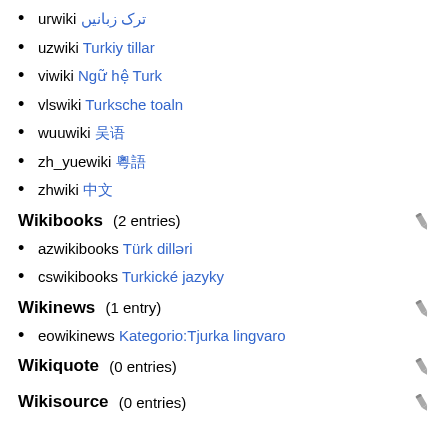urwiki ترک زبانیں
uzwiki Turkiy tillar
viwiki Ngữ hệ Turk
vlswiki Turksche toaln
wuuwiki 吴语
zh_yuewiki 粵語
zhwiki 中文
Wikibooks (2 entries)
azwikibooks Türk dilləri
cswikibooks Turkické jazyky
Wikinews (1 entry)
eowikinews Kategorio:Tjurka lingvaro
Wikiquote (0 entries)
Wikisource (0 entries)